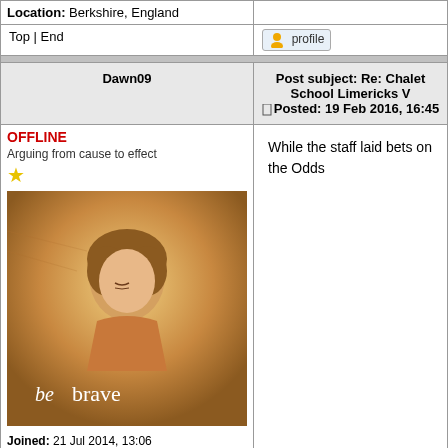Location: Berkshire, England
Top | End
profile
Dawn09
Post subject: Re: Chalet School Limericks V
Posted: 19 Feb 2016, 16:45
OFFLINE
Arguing from cause to effect
[Figure (illustration): Book cover illustration showing a young woman with short hair looking down, with text 'be brave' at the bottom]
Joined: 21 Jul 2014, 13:06
Posts: 225
Location: North West England
While the staff laid bets on the Odds
Top | End
profile
janetbrown23
Post subject: Re: Chalet School Limericks V
Posted: 19 Feb 2016, 18:05
OFFLINE
Of boys, girls or
Spending time in the...